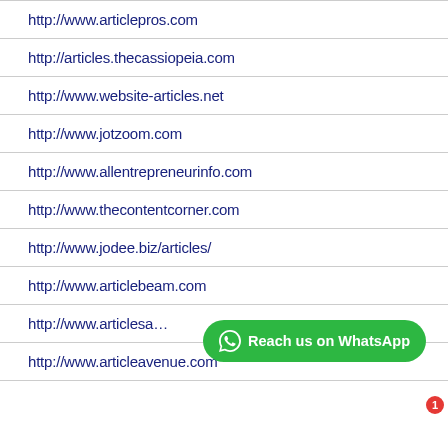http://www.articlepros.com
http://articles.thecassiopeia.com
http://www.website-articles.net
http://www.jotzoom.com
http://www.allentrepreneurinfo.com
http://www.thecontentcorner.com
http://www.jodee.biz/articles/
http://www.articlebeam.com
http://www.articlesa…
http://www.articleavenue.com